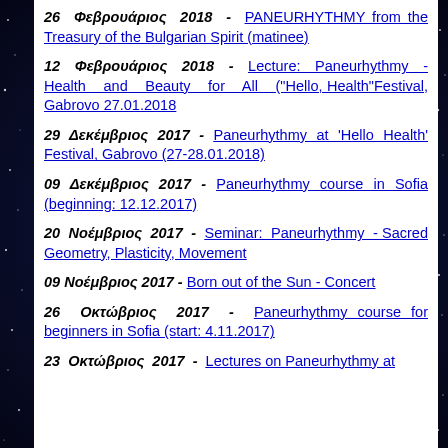26 Φεβρουάριος 2018 - PANEURHYTHMY from the Treasury of the Bulgarian Spirit (matinee)
12 Φεβρουάριος 2018 - Lecture: Paneurhythmy - Health and Beauty for All ("Hello, Health"Festival, Gabrovo 27.01.2018
29 Δεκέμβριος 2017 - Paneurhythmy at 'Hello Health' Festival, Gabrovo (27-28.01.2018)
09 Δεκέμβριος 2017 - Paneurhythmy course in Sofia (beginning: 12.12.2017)
20 Νοέμβριος 2017 - Seminar: Paneurhythmy - Sacred Geometry, Plasticity, Movement
09 Νοέμβριος 2017 - Born out of the Sun - Concert
26 Οκτώβριος 2017 - Paneurhythmy course for beginners in Sofia (start: 4.11.2017)
23 Οκτώβριος 2017 - Lectures on Paneurhythmy at